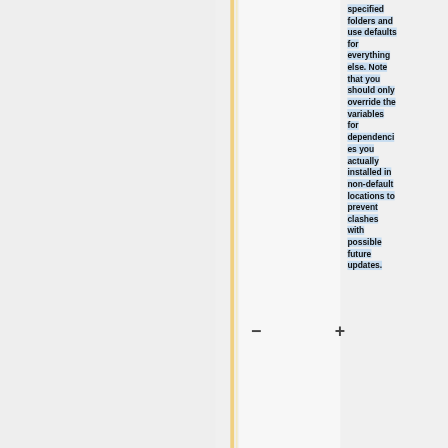specified folders and use defaults for everything else. Note that you should only override the variables for dependencies you actually installed in non-default locations to prevent clashes with possible future updates.